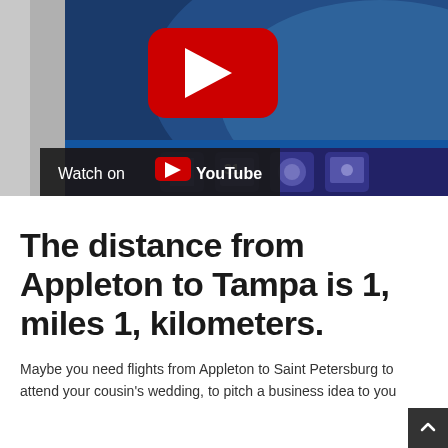[Figure (screenshot): A YouTube video thumbnail showing a smartphone displaying an aerial/space view of Earth, with a red YouTube play button in the center and a 'Watch on YouTube' overlay in the bottom left corner.]
The distance from Appleton to Tampa is 1, miles 1, kilometers.
Maybe you need flights from Appleton to Saint Petersburg to attend your cousin's wedding, to pitch a business idea to you